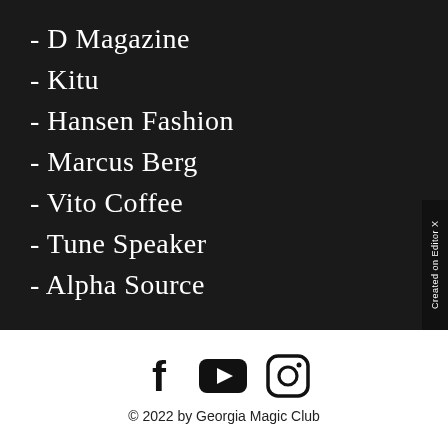- D Magazine
- Kitu
- Hansen Fashion
- Marcus Berg
- Vito Coffee
- Tune Speaker
- Alpha Source
[Figure (illustration): Social media icons: Facebook, YouTube, Instagram]
© 2022 by Georgia Magic Club